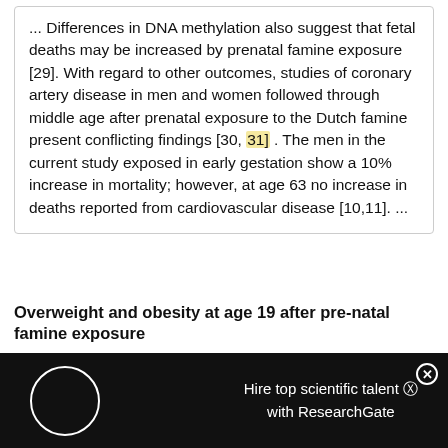... Differences in DNA methylation also suggest that fetal deaths may be increased by prenatal famine exposure [29]. With regard to other outcomes, studies of coronary artery disease in men and women followed through middle age after prenatal exposure to the Dutch famine present conflicting findings [30, 31] . The men in the current study exposed in early gestation show a 10% increase in mortality; however, at age 63 no increase in deaths reported from cardiovascular disease [10,11]. ...
Overweight and obesity at age 19 after pre-natal famine exposure
[Figure (other): Dark overlay banner with ResearchGate advertisement: 'Hire top scientific talent with ResearchGate' and a circular loading/logo icon on the left, close button (X) in top right corner.]
[Figure (other): Thermo Fisher Scientific advertisement banner at bottom with food/ingredient image on left, Thermo Fisher Scientific logo in red, and tagline 'More than a matter of taste'.]